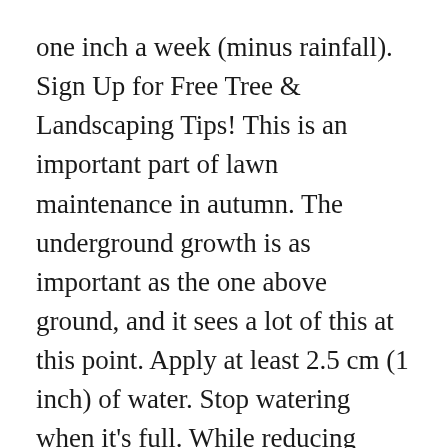one inch a week (minus rainfall). Sign Up for Free Tree & Landscaping Tips! This is an important part of lawn maintenance in autumn. The underground growth is as important as the one above ground, and it sees a lot of this at this point. Apply at least 2.5 cm (1 inch) of water. Stop watering when it's full. While reducing irrigation is an essential part of caring for autumn lawns, don't stop watering abruptly. Alternatively, the law... As you go deeper into October, gradually cut back on how often you water the grass. So, if you get an inch of rain, you may not need to water your lawn again for a full week. The ideal length of your lawn depends on your climate, but most experts